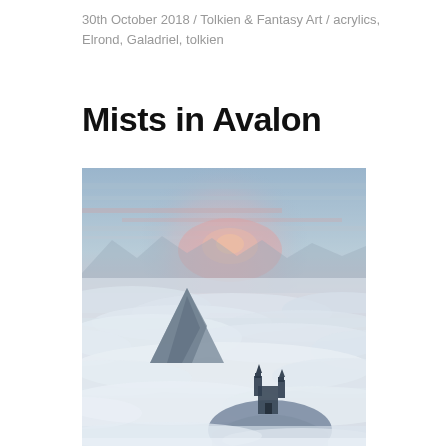30th October 2018 / Tolkien & Fantasy Art / acrylics, Elrond, Galadriel, tolkien
Mists in Avalon
[Figure (illustration): A fantasy painting depicting misty mountains or hills emerging from a sea of white clouds. A dramatic sky with pink and blue hues glows at the center. In the foreground, a dark pointed mountain peak rises on the left, and a small dark gothic church or castle sits atop a rounded hill on the right center. The style is painterly and atmospheric, rendered in acrylics.]